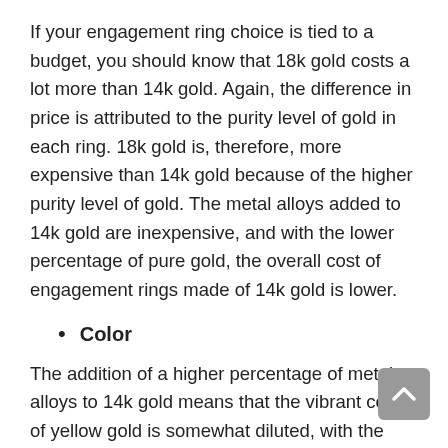If your engagement ring choice is tied to a budget, you should know that 18k gold costs a lot more than 14k gold. Again, the difference in price is attributed to the purity level of gold in each ring. 18k gold is, therefore, more expensive than 14k gold because of the higher purity level of gold. The metal alloys added to 14k gold are inexpensive, and with the lower percentage of pure gold, the overall cost of engagement rings made of 14k gold is lower.
Color
The addition of a higher percentage of metal alloys to 14k gold means that the vibrant color of yellow gold is somewhat diluted, with the colors of the metal alloys having a significant effect on 14k gold engagement rings. 14k rose gold, for...